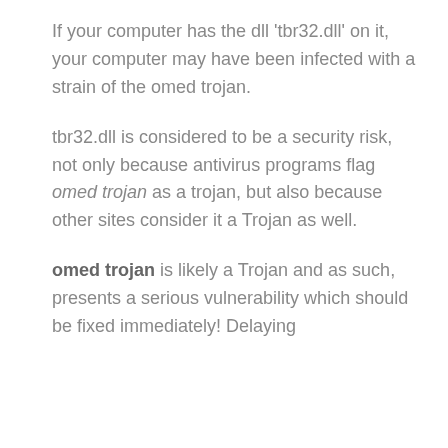If your computer has the dll 'tbr32.dll' on it, your computer may have been infected with a strain of the omed trojan.
tbr32.dll is considered to be a security risk, not only because antivirus programs flag omed trojan as a trojan, but also because other sites consider it a Trojan as well.
omed trojan is likely a Trojan and as such, presents a serious vulnerability which should be fixed immediately! Delaying